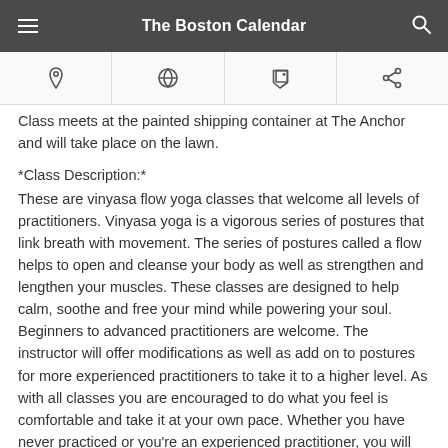The Boston Calendar
Class meets at the painted shipping container at The Anchor and will take place on the lawn.
*Class Description:*
These are vinyasa flow yoga classes that welcome all levels of practitioners. Vinyasa yoga is a vigorous series of postures that link breath with movement. The series of postures called a flow helps to open and cleanse your body as well as strengthen and lengthen your muscles. These classes are designed to help calm, soothe and free your mind while powering your soul. Beginners to advanced practitioners are welcome. The instructor will offer modifications as well as add on to postures for more experienced practitioners to take it to a higher level. As with all classes you are encouraged to do what you feel is comfortable and take it at your own pace. Whether you have never practiced or you're an experienced practitioner, you will feel at home, challenged, and at ease.